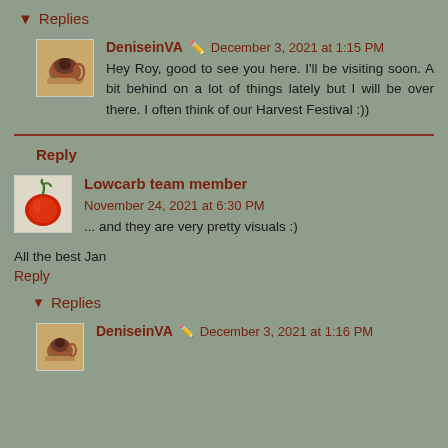▼ Replies
DeniseinVA ✏ December 3, 2021 at 1:15 PM
Hey Roy, good to see you here. I'll be visiting soon. A bit behind on a lot of things lately but I will be over there. I often think of our Harvest Festival :))
Reply
Lowcarb team member  November 24, 2021 at 6:30 PM
... and they are very pretty visuals :)
All the best Jan
Reply
▼ Replies
DeniseinVA ✏ December 3, 2021 at 1:16 PM